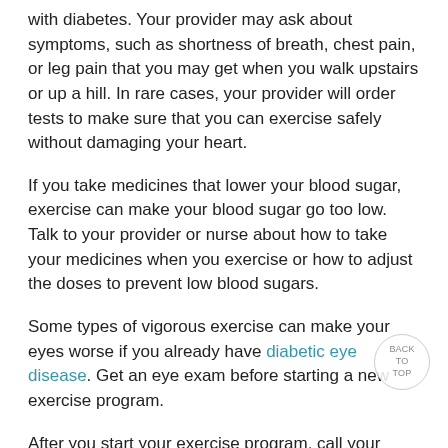with diabetes. Your provider may ask about symptoms, such as shortness of breath, chest pain, or leg pain that you may get when you walk upstairs or up a hill. In rare cases, your provider will order tests to make sure that you can exercise safely without damaging your heart.
If you take medicines that lower your blood sugar, exercise can make your blood sugar go too low. Talk to your provider or nurse about how to take your medicines when you exercise or how to adjust the doses to prevent low blood sugars.
Some types of vigorous exercise can make your eyes worse if you already have diabetic eye disease. Get an eye exam before starting a new exercise program.
After you start your exercise program, call your provider if you have any of the following: